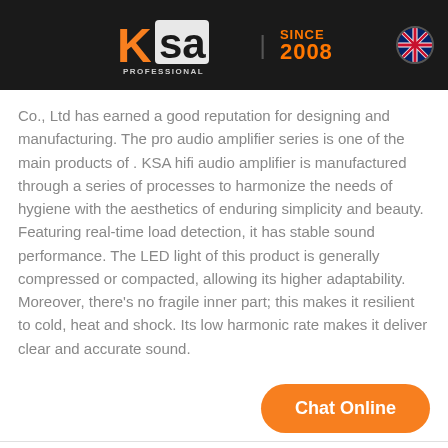[Figure (logo): KSA Professional logo with orange and white lettering on dark background, 'SINCE 2008' in orange text, UK flag icon top right]
Co., Ltd has earned a good reputation for designing and manufacturing. The pro audio amplifier series is one of the main products of . KSA hifi audio amplifier is manufactured through a series of processes to harmonize the needs of hygiene with the aesthetics of enduring simplicity and beauty. Featuring real-time load detection, it has stable sound performance. The LED light of this product is generally compressed or compacted, allowing its higher adaptability. Moreover, there's no fragile inner part; this makes it resilient to cold, heat and shock. Its low harmonic rate makes it deliver clear and accurate sound.
[Figure (other): Chat Online button — orange rounded rectangle with white text]